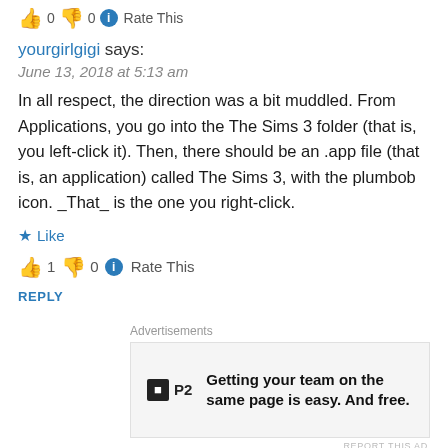👍 0 👎 0 ℹ Rate This
yourgirlgigi says:
June 13, 2018 at 5:13 am
In all respect, the direction was a bit muddled. From Applications, you go into the The Sims 3 folder (that is, you left-click it). Then, there should be an .app file (that is, an application) called The Sims 3, with the plumbob icon. _That_ is the one you right-click.
★ Like
👍 1 👎 0 ℹ Rate This
REPLY
Advertisements
[Figure (screenshot): P2 advertisement: Getting your team on the same page is easy. And free.]
REPORT THIS AD
ginnystellar says: